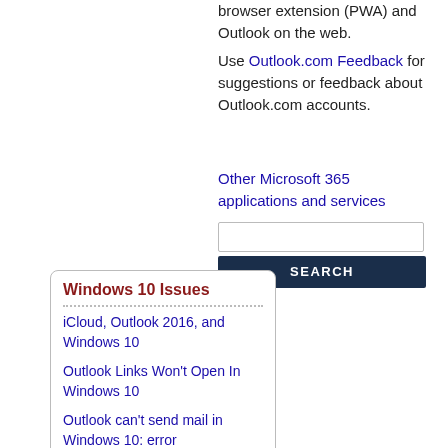browser extension (PWA) and Outlook on the web.
Use Outlook.com Feedback for suggestions or feedback about Outlook.com accounts.
Other Microsoft 365 applications and services
SEARCH
Windows 10 Issues
iCloud, Outlook 2016, and Windows 10
Outlook Links Won't Open In Windows 10
Outlook can't send mail in Windows 10: error 0x800CCC13